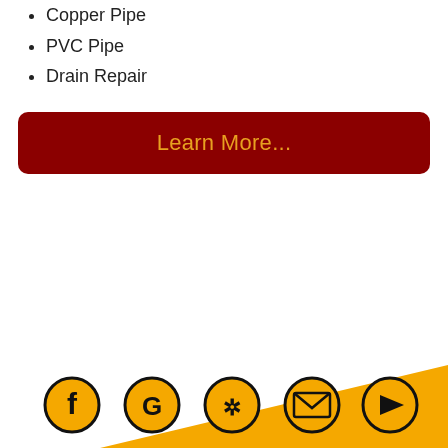Copper Pipe
PVC Pipe
Drain Repair
Learn More...
[Figure (illustration): Footer with orange/yellow diagonal background and five social media icon circles: Facebook, Google, Yelp, Email/Mail, YouTube]